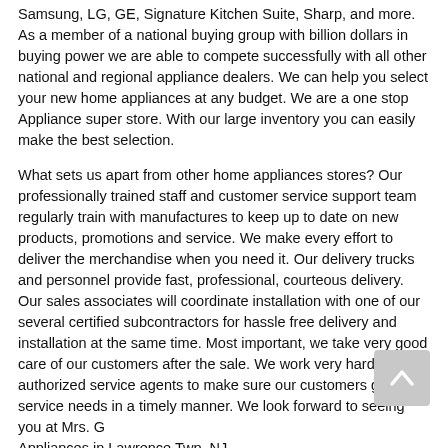Samsung, LG, GE, Signature Kitchen Suite, Sharp, and more. As a member of a national buying group with billion dollars in buying power we are able to compete successfully with all other national and regional appliance dealers. We can help you select your new home appliances at any budget. We are a one stop Appliance super store. With our large inventory you can easily make the best selection.
What sets us apart from other home appliances stores? Our professionally trained staff and customer service support team regularly train with manufactures to keep up to date on new products, promotions and service. We make every effort to deliver the merchandise when you need it. Our delivery trucks and personnel provide fast, professional, courteous delivery. Our sales associates will coordinate installation with one of our several certified subcontractors for hassle free delivery and installation at the same time. Most important, we take very good care of our customers after the sale. We work very hard with our authorized service agents to make sure our customers get their service needs in a timely manner. We look forward to seeing you at Mrs. G Appliances in Lawrence Twp, NJ.
Shop by Category